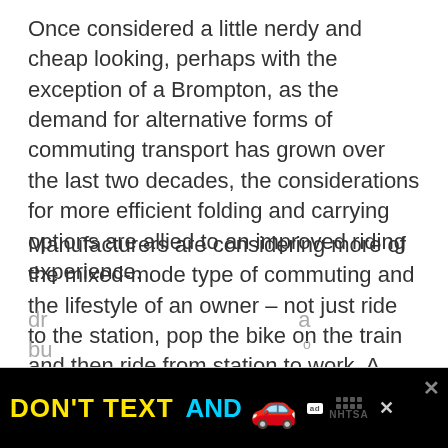Once considered a little nerdy and cheap looking, perhaps with the exception of a Brompton, as the demand for alternative forms of commuting transport has grown over the last two decades, the considerations for more efficient folding and carrying options are allied to an improved riding experience.
Manufacturers are considering more of the mixed-mode type of commuting and the lifestyle of an owner – not just ride to the station, pop the bike on the train and then ride from station to work. A folding bike literally and figuratively fits into the rider's urban world.
There are a range of handlebar designs which promote whichever kind of position suits you. You can buy dr... bu...
[Figure (other): Advertisement banner: 'DON'T TEXT AND [car emoji] ad NHTSA' with close button X, overlaid on bottom of page]